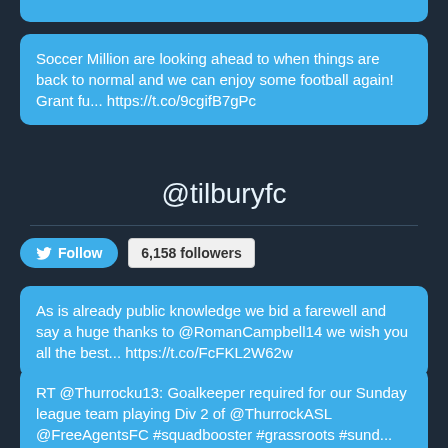Soccer Million are looking ahead to when things are back to normal and we can enjoy some football again! Grant fu... https://t.co/9cgifB7gPc
@tilburyfc
Follow  6,158 followers
As is already public knowledge we bid a farewell and say a huge thanks to @RomanCampbell14 we wish you all the best... https://t.co/FcFKL2W62w
RT @Thurrocku13: Goalkeeper required for our Sunday league team playing Div 2 of @ThurrockASL @FreeAgentsFC #squadbooster #grassroots #sund...